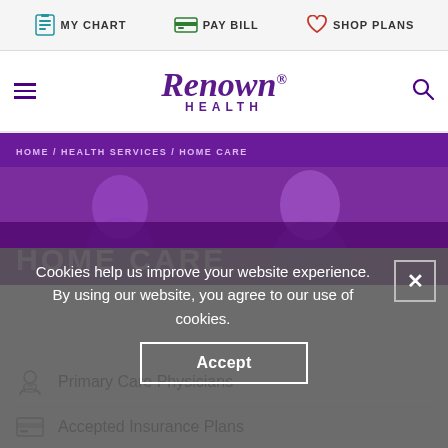MY CHART | PAY BILL | SHOP PLANS
[Figure (logo): Renown Health logo with italic serif wordmark and HEALTH subtitle in purple]
HOME / HEALTH SERVICES / HOME CARE
[Figure (photo): Hero photo of two women with purple overlay, title HOME CARE]
Cookies help us improve your website experience. By using our website, you agree to our use of cookies.
Accept
Primary Care Physicians
Accepted Insurance Plans